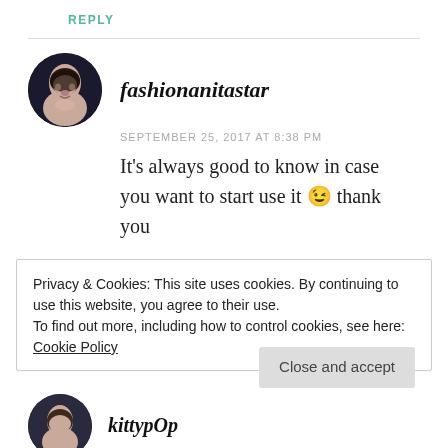REPLY
[Figure (photo): Round avatar photo of fashionanitastar — a woman with dark hair against a dark background]
fashionanitastar
SEPTEMBER 25, 2017 AT 8:38 PM
It's always good to know in case you want to start use it 😉 thank you
Privacy & Cookies: This site uses cookies. By continuing to use this website, you agree to their use.
To find out more, including how to control cookies, see here: Cookie Policy
Close and accept
[Figure (photo): Round avatar photo of kittypOp — partial view at bottom]
kittypOp